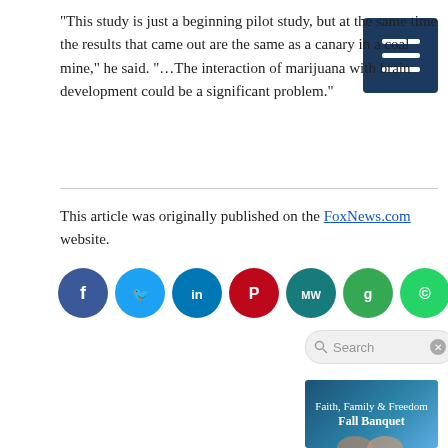“This study is just a beginning pilot study, but at the same time the results that came out are the same as a canary in a coal mine,” he said. “…The interaction of marijuana with brain development could be a significant problem.”
This article was originally published on the FoxNews.com website.
[Figure (infographic): Social media sharing icons row: Facebook (dark blue), Twitter (light blue), LinkedIn (blue), Pinterest (red), MeWe (teal), Google (green), WhatsApp (green), Parler (red), Share (orange)]
[Figure (screenshot): Search bar with magnifying glass icon and X button]
[Figure (infographic): Banner ad: 'Faith, Family & Freedom Fall Banquet' on blue gradient background with two women visible at bottom]